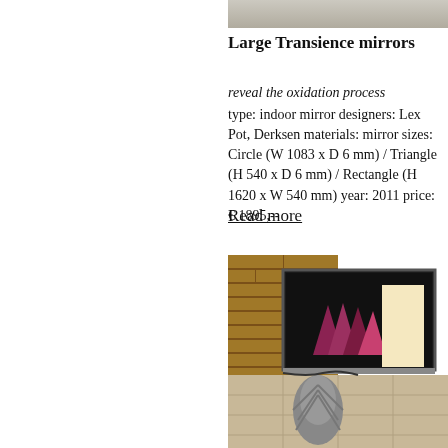[Figure (photo): Partial view of a textured surface (top image, cropped), gray/beige tones]
Large Transience mirrors
reveal the oxidation process
type: indoor mirror designers: Lex Pott, Derksen materials: mirror sizes: Circle (W 1083 x D 6 mm) / Triangle (H 540 x D 6 mm) / Rectangle (H 1620 x W 540 mm) year: 2011 price: € 1895,--
Read more
[Figure (photo): Interior scene showing a flat-screen TV mounted or placed against a brick wall, displaying colorful crystal/mountain imagery, with decorative feathered objects in the foreground on a tiled floor]